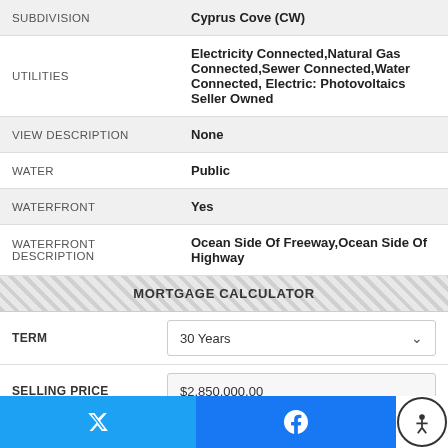| Field | Value |
| --- | --- |
| SUBDIVISION | Cyprus Cove (CW) |
| UTILITIES | Electricity Connected,Natural Gas Connected,Sewer Connected,Water Connected, Electric: Photovoltaics Seller Owned |
| VIEW DESCRIPTION | None |
| WATER | Public |
| WATERFRONT | Yes |
| WATERFRONT DESCRIPTION | Ocean Side Of Freeway,Ocean Side Of Highway |
MORTGAGE CALCULATOR
| Field | Value |
| --- | --- |
| TERM | 30 Years |
| SELLING PRICE | $2,850,000.00 |